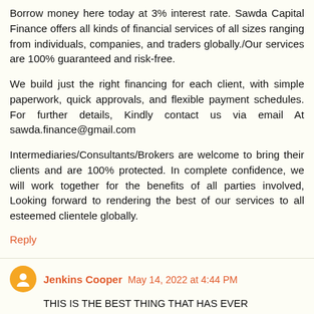Borrow money here today at 3% interest rate. Sawda Capital Finance offers all kinds of financial services of all sizes ranging from individuals, companies, and traders globally./Our services are 100% guaranteed and risk-free.
We build just the right financing for each client, with simple paperwork, quick approvals, and flexible payment schedules. For further details, Kindly contact us via email At sawda.finance@gmail.com
Intermediaries/Consultants/Brokers are welcome to bring their clients and are 100% protected. In complete confidence, we will work together for the benefits of all parties involved, Looking forward to rendering the best of our services to all esteemed clientele globally.
Reply
Jenkins Cooper May 14, 2022 at 4:44 PM
THIS IS THE BEST THING THAT HAS EVER HAPPENED TO ME